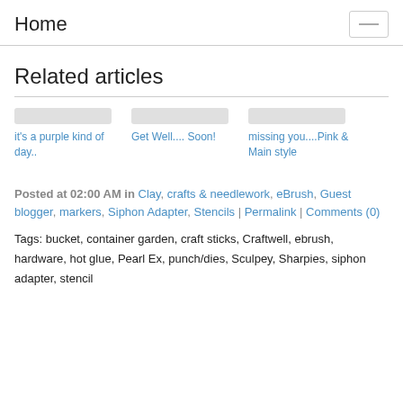Home
Related articles
it's a purple kind of day..
Get Well.... Soon!
missing you....Pink & Main style
Posted at 02:00 AM in Clay, crafts & needlework, eBrush, Guest blogger, markers, Siphon Adapter, Stencils | Permalink | Comments (0)
Tags: bucket, container garden, craft sticks, Craftwell, ebrush, hardware, hot glue, Pearl Ex, punch/dies, Sculpey, Sharpies, siphon adapter, stencil